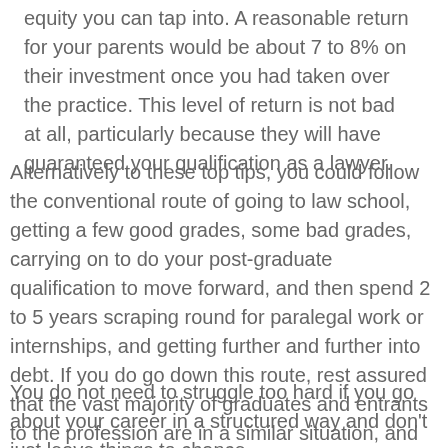equity you can tap into. A reasonable return for your parents would be about 7 to 8% on their investment once you had taken over the practice. This level of return is not bad at all, particularly because they will have guaranteed your qualification as a lawyer.
Alternatively to these top tips, you could follow the conventional route of going to law school, getting a few good grades, some bad grades, carrying on to do your post-graduate qualification to move forward, and then spend 2 to 5 years scraping round for paralegal work or internships, and getting further and further into debt. If you do go down this route, rest assured that the vast majority of graduates and entrants to the profession are in a similar situation, and you are not alone.
You do not need to struggle too hard if you go about your career in a structured way and don't just leave things to chance….